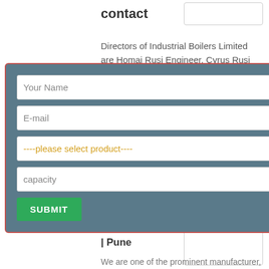contact
Directors of Industrial Boilers Limited are Homai Rusi Engineer, Cyrus Rusi Engineer, Its Email address is vapiaccounts@indboilers.com and its registered address is 701 C Activity.
I metal products, tanks, erators INDIAN ERSASSOCIATION.
[Figure (screenshot): A modal dialog with a dark teal/slate background and red border containing a contact form with fields: Your Name, E-mail, a dropdown saying 'please select product', a capacity field, and a green SUBMIT button. There is an X close button in the top right.]
Rakhoh Industries | Pune
We are one of the prominent manufacturer,